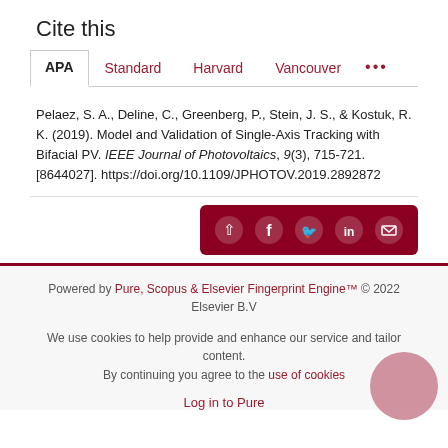Cite this
APA | Standard | Harvard | Vancouver | ...
Pelaez, S. A., Deline, C., Greenberg, P., Stein, J. S., & Kostuk, R. K. (2019). Model and Validation of Single-Axis Tracking with Bifacial PV. IEEE Journal of Photovoltaics, 9(3), 715-721. [8644027]. https://doi.org/10.1109/JPHOTOV.2019.2892872
[Figure (other): Social share buttons bar (share, Facebook, Twitter, LinkedIn, email) on dark red background]
Powered by Pure, Scopus & Elsevier Fingerprint Engine™ © 2022 Elsevier B.V
We use cookies to help provide and enhance our service and tailor content. By continuing you agree to the use of cookies
Log in to Pure